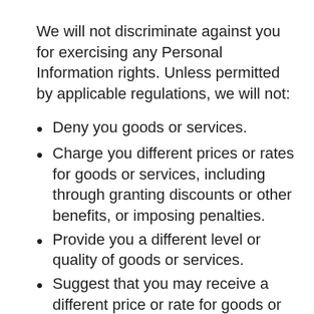We will not discriminate against you for exercising any Personal Information rights. Unless permitted by applicable regulations, we will not:
Deny you goods or services.
Charge you different prices or rates for goods or services, including through granting discounts or other benefits, or imposing penalties.
Provide you a different level or quality of goods or services.
Suggest that you may receive a different price or rate for goods or services or a different level or quality of